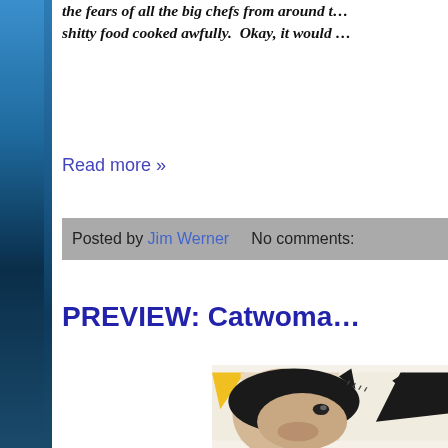the fears of all the big chefs from around t... shitty food cooked awfully.  Okay, it would ...
Read more »
Posted by Jim Werner    No comments:
PREVIEW: Catwoma...
[Figure (illustration): Comic book illustration of Catwoman character in black mask/costume with arm raised]